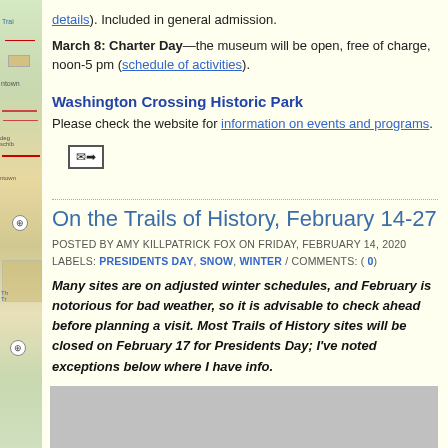details). Included in general admission.
March 8: Charter Day—the museum will be open, free of charge, noon-5 pm (schedule of activities).
Washington Crossing Historic Park
Please check the website for information on events and programs.
[Figure (other): Email forward icon button]
On the Trails of History, February 14-27
POSTED BY AMY KILLPATRICK FOX ON FRIDAY, FEBRUARY 14, 2020
LABELS: PRESIDENTS DAY, SNOW, WINTER / COMMENTS: ( 0)
Many sites are on adjusted winter schedules, and February is notorious for bad weather, so it is advisable to check ahead before planning a visit. Most Trails of History sites will be closed on February 17 for Presidents Day; I've noted exceptions below where I have info.
[Figure (photo): Gray photo placeholder at bottom of page]